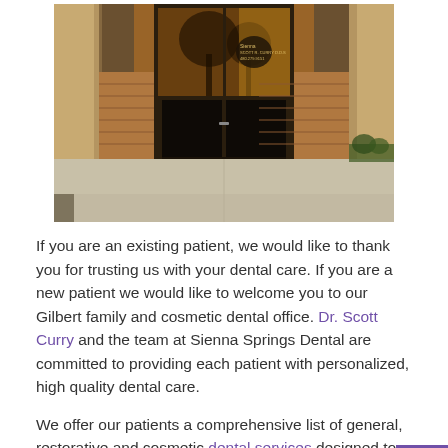[Figure (photo): Exterior photo of Sienna Springs Dental office building entrance, showing glass doors with a logo and sign, brick and concrete facade, columns, and a concrete sidewalk approach.]
If you are an existing patient, we would like to thank you for trusting us with your dental care. If you are a new patient we would like to welcome you to our Gilbert family and cosmetic dental office. Dr. Scott Curry and the team at Sienna Springs Dental are committed to providing each patient with personalized, high quality dental care.
We offer our patients a comprehensive list of general, restorative and cosmetic dental services designed to mee